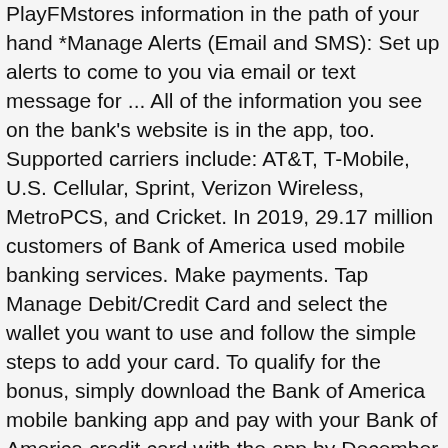PlayFMstores information in the path of your hand *Manage Alerts (Email and SMS): Set up alerts to come to you via email or text message for ... All of the information you see on the bank's website is in the app, too. Supported carriers include: AT&T, T-Mobile, U.S. Cellular, Sprint, Verizon Wireless, MetroPCS, and Cricket. In 2019, 29.17 million customers of Bank of America used mobile banking services. Make payments. Tap Manage Debit/Credit Card and select the wallet you want to use and follow the simple steps to add your card. To qualify for the bonus, simply download the Bank of America mobile banking app and pay with your Bank of America credit card with the app by December 2, 2018. Posted on Dec 10, 2020 40,897 154 Download BofA Prepaid Mobile and enjoy it on your iPhone, iPad, and iPod touch. 5 years. bank ... The Bank of America app was one of the first important apps to leave the Windows Phone platform, and is set to be one of the first to return, with the company currently internally beta testing a brand new app for the platform. Clients can review their account balances and transactions, deposit checks and tranfer money through online